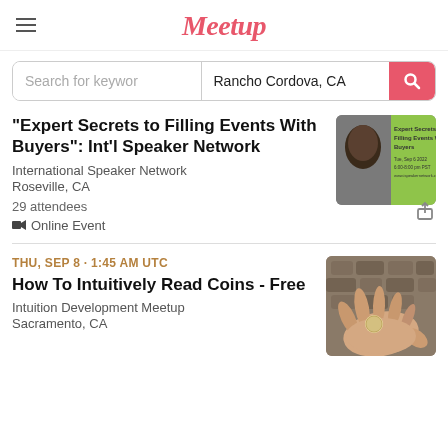Meetup
Search for keyword | Rancho Cordova, CA
"Expert Secrets to Filling Events With Buyers": Int'l Speaker Network
International Speaker Network
Roseville, CA
29 attendees
Online Event
THU, SEP 8 · 1:45 AM UTC
How To Intuitively Read Coins - Free
Intuition Development Meetup
Sacramento, CA